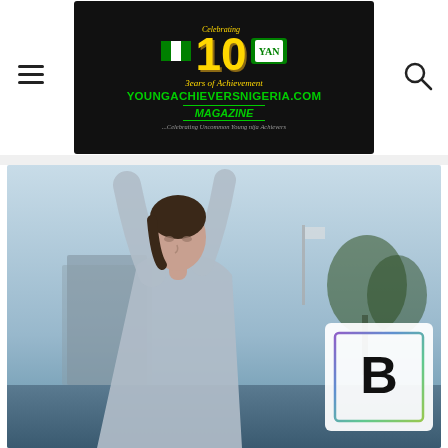YoungAchieversNigeria.com Magazine — Celebrating 10 Years of Achievement
[Figure (photo): Woman with arms raised against blurred outdoor background, with a white bokeh square overlay containing a letter B logo in the lower right]